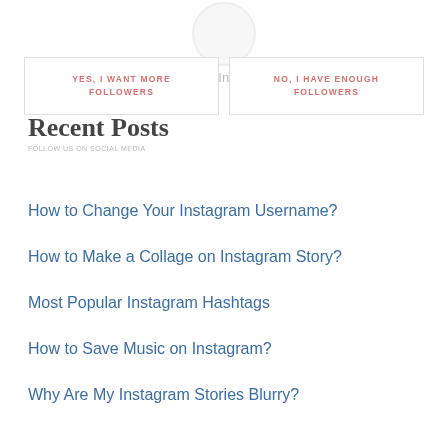[Figure (illustration): Faded circular profile icon at top center]
Do you want more Instagram followers?
YES, I WANT MORE FOLLOWERS
NO, I HAVE ENOUGH FOLLOWERS
Recent Posts
How to Change Your Instagram Username?
How to Make a Collage on Instagram Story?
Most Popular Instagram Hashtags
How to Save Music on Instagram?
Why Are My Instagram Stories Blurry?